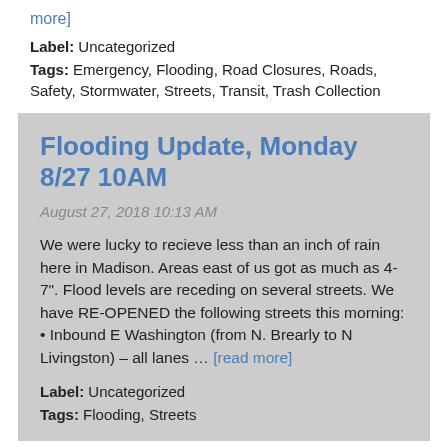more]
Label: Uncategorized
Tags: Emergency, Flooding, Road Closures, Roads, Safety, Stormwater, Streets, Transit, Trash Collection
Flooding Update, Monday 8/27 10AM
August 27, 2018 10:13 AM
We were lucky to recieve less than an inch of rain here in Madison. Areas east of us got as much as 4-7". Flood levels are receding on several streets. We have RE-OPENED the following streets this morning: • Inbound E Washington (from N. Brearly to N Livingston) – all lanes … [read more]
Label: Uncategorized
Tags: Flooding, Streets
Flash Flooding Risk Citywide